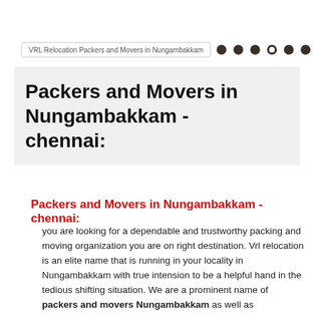VRL Relocation Packers and Movers in Nungambakkam
Packers and Movers in Nungambakkam - chennai:
Packers and Movers in Nungambakkam - chennai:
you are looking for a dependable and trustworthy packing and moving organization you are on right destination. Vrl relocation is an elite name that is running in your locality in Nungambakkam with true intension to be a helpful hand in the tedious shifting situation. We are a prominent name of packers and movers Nungambakkam as well as